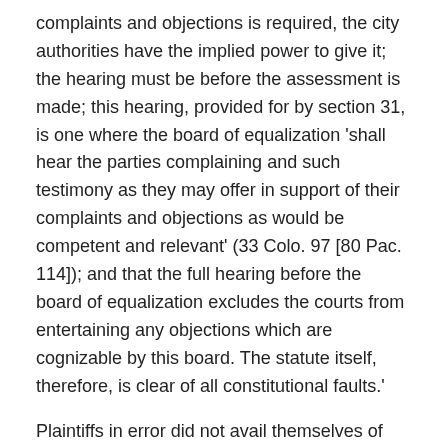complaints and objections is required, the city authorities have the implied power to give it; the hearing must be before the assessment is made; this hearing, provided for by section 31, is one where the board of equalization 'shall hear the parties complaining and such testimony as they may offer in support of their complaints and objections as would be competent and relevant' (33 Colo. 97 [80 Pac. 114]); and that the full hearing before the board of equalization excludes the courts from entertaining any objections which are cognizable by this board. The statute itself, therefore, is clear of all constitutional faults.'
Plaintiffs in error did not avail themselves of the privilege of a hearing as provided by this section, but after the assessing ordinance had been passed began this proceeding in the district court to test the constitutionality of the law. As we have said, the question as to what should be a proper